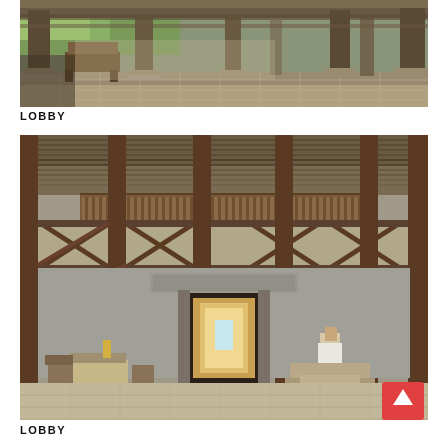[Figure (photo): Open-air hotel lobby corridor with wooden columns, stone plinths, tiled floor, wooden benches/chairs, green lawn visible in background. Traditional Balinese architecture.]
LOBBY
[Figure (photo): Hotel lobby interior with high thatched roof, dark wooden structural columns with X-bracing, mezzanine level with decorative balustrade, stone/concrete walls with carved inscription, reception desk area with staff member, seating area with rattan chairs and table, corridor leading to illuminated passage. Scroll-to-top button visible bottom right.]
LOBBY